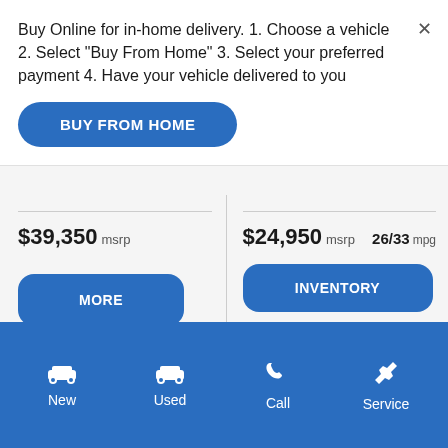Buy Online for in-home delivery. 1. Choose a vehicle 2. Select "Buy From Home" 3. Select your preferred payment 4. Have your vehicle delivered to you
BUY FROM HOME
$39,350 msrp
MORE
$24,950 msrp   26/33 mpg
INVENTORY
MORE
New
Used
Call
Service